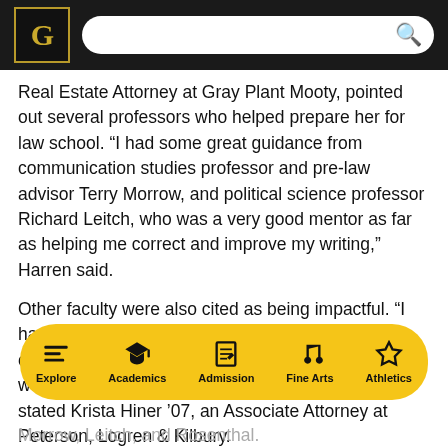G [logo] [search bar]
Real Estate Attorney at Gray Plant Mooty, pointed out several professors who helped prepare her for law school. “I had some great guidance from communication studies professor and pre-law advisor Terry Morrow, and political science professor Richard Leitch, who was a very good mentor as far as helping me correct and improve my writing,” Harren said.
Other faculty were also cited as being impactful. “I had a fantastic advisor who really supported me once I made the decision to pursue law school. It was (political science professor) Alisa Rosenthal,” stated Krista Hiner ’07, an Associate Attorney at Peterson, Logren & Kilbury.
Explore | Academics | Admission | Fine Arts | Athletics
Morrow, Leitch, and Rosenthal.